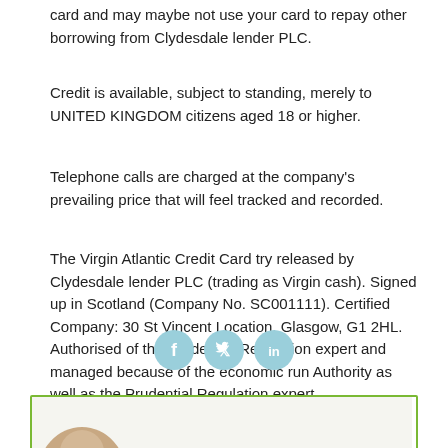card and may maybe not use your card to repay other borrowing from Clydesdale lender PLC.
Credit is available, subject to standing, merely to UNITED KINGDOM citizens aged 18 or higher.
Telephone calls are charged at the company’s prevailing price that will feel tracked and recorded.
The Virgin Atlantic Credit Card try released by Clydesdale lender PLC (trading as Virgin cash). Signed up in Scotland (Company No. SC001111). Certified Company: 30 St Vincent Location, Glasgow, G1 2HL. Authorised of the Prudential Regulation expert and managed because of the economic run Authority as well as the Prudential Regulation expert.
[Figure (illustration): Three social media icons (Facebook, Twitter, LinkedIn) displayed as circles with light blue/teal background color]
[Figure (photo): A partially visible photo at the bottom of the page inside a green-bordered box]